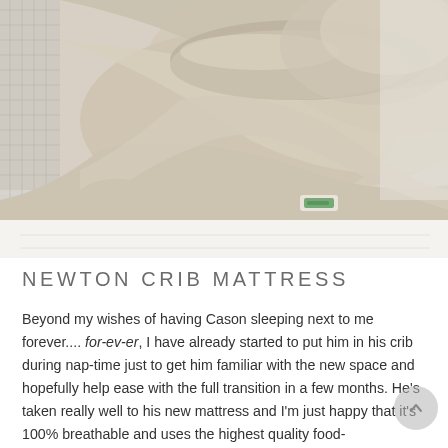[Figure (photo): Close-up photo of a cream/beige fabric baby mattress or sleep positioner with a small green label visible, placed in a white mesh-sided crib. The fabric has soft folds and a quilted white mattress surface below.]
NEWTON CRIB MATTRESS
Beyond my wishes of having Cason sleeping next to me forever.... for-ev-er, I have already started to put him in his crib during nap-time just to get him familiar with the new space and hopefully help ease with the full transition in a few months. He's taken really well to his new mattress and I'm just happy that it's 100% breathable and uses the highest quality food-